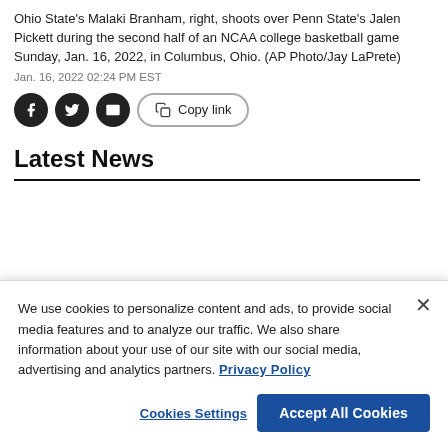Ohio State's Malaki Branham, right, shoots over Penn State's Jalen Pickett during the second half of an NCAA college basketball game Sunday, Jan. 16, 2022, in Columbus, Ohio. (AP Photo/Jay LaPrete)
Jan. 16, 2022 02:24 PM EST
[Figure (other): Social share buttons: Facebook, Twitter, Email icons (circular dark buttons), and a Copy link button with rounded border]
Latest News
We use cookies to personalize content and ads, to provide social media features and to analyze our traffic. We also share information about your use of our site with our social media, advertising and analytics partners. Privacy Policy
Cookies Settings | Accept All Cookies